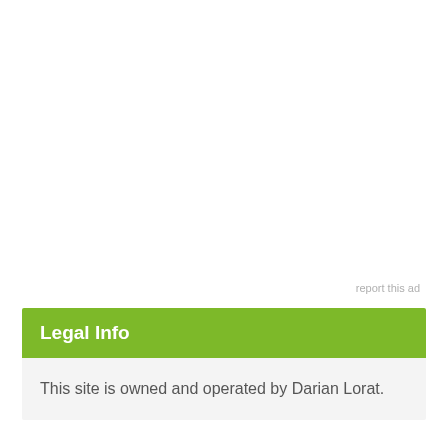report this ad
Legal Info
This site is owned and operated by Darian Lorat.